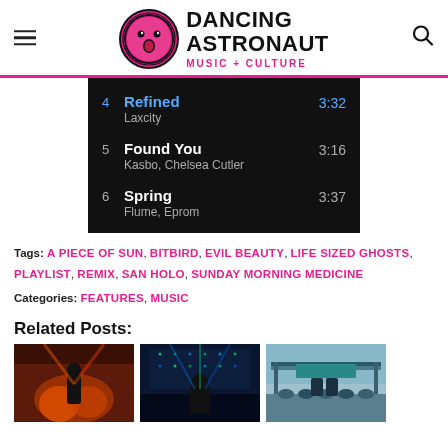Dancing Astronaut - Music + Culture
[Figure (screenshot): Spotify/music app playlist screenshot showing tracks 4-6: 4. Refined - Laxcity (3:32), 5. Found You - Kasbo, Chelsea Cutler (3:16), 6. Spring - Flume, Eprom (3:37)]
Tags: A PIECE OF SUN, BITBIRD, EVIL BEAUTY, LIFE SIZED GHOSTS, PLAYLIST, REMIX, SAN HOLO, SUNDAY MORNING MEDICINE
Categories: FEATURES, MUSIC
Related Posts:
[Figure (photo): Concert photo with red/orange lighting, performer on stage with flames]
[Figure (photo): Concert photo with blue/green lighting, performer silhouette on stage with visual backdrop]
[Figure (photo): Outdoor festival photo with crowd and DJ booth under a canopy structure]